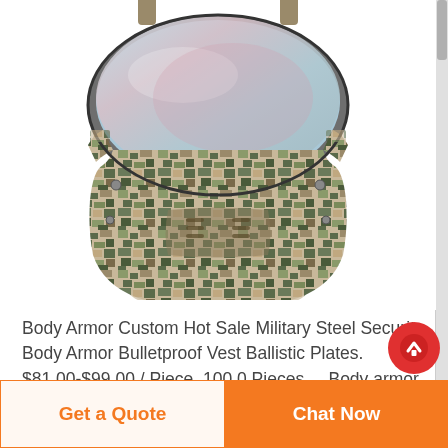[Figure (photo): A military/tactical face mask with digital camouflage pattern (tan, green, gray) and a large clear visor/goggle lens on top. The mask covers the nose and mouth area.]
Body Armor Custom Hot Sale Military Steel Security Body Armor Bulletproof Vest Ballistic Plates. $81.00-$99.00 / Piece. 100.0 Pieces ... Body armor manufacturer police vest body armor high quality body armor sale. $89.00 / Piece. 1 Piece ... (ssic) hexagon plate body armor